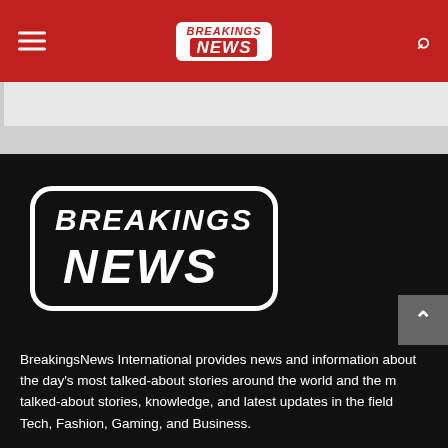BREAKINGS NEWS — navigation header with hamburger menu and search icon
[Figure (logo): BreakingsNews logo: white background rounded rectangle with BREAKINGS in red italic bold above NEWS in white italic bold on red background]
BreakingsNews International provides news and information about the day's most talked-about stories around the world and the most talked-about stories, knowledge, and latest updates in the field Tech, Fashion, Gaming, and Business.